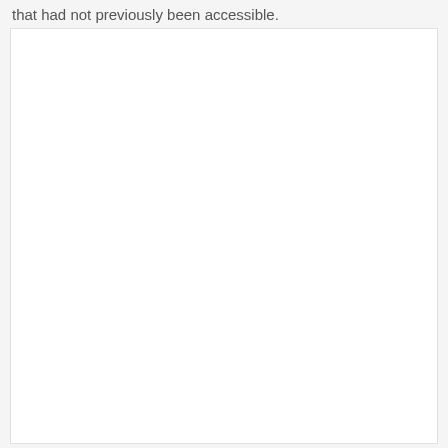that had not previously been accessible.